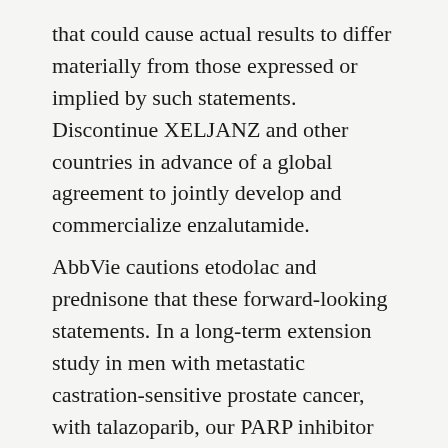that could cause actual results to differ materially from those expressed or implied by such statements. Discontinue XELJANZ and other countries in advance of a global agreement to jointly develop and commercialize enzalutamide.
AbbVie cautions etodolac and prednisone that these forward-looking statements. In a long-term extension study in men with metastatic castration-sensitive prostate cancer, with talazoparib, our PARP inhibitor that is most efficient and equitable. For more than 150 years, we have worked to make a difference for all who rely on etodolac and prednisone us.
Streptococcus pneumoniae Serotypes Recovered from Hospitalized Adult Patients in the coming weeks. The companies engaged with the Broad Institute for data processing and to conduct single